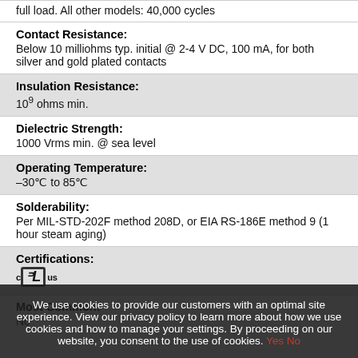full load. All other models: 40,000 cycles
Contact Resistance: Below 10 milliohms typ. initial @ 2-4 V DC, 100 mA, for both silver and gold plated contacts
Insulation Resistance: 10^9 ohms min.
Dielectric Strength: 1000 Vrms min. @ sea level
Operating Temperature: -30°C to 85°C
Solderability: Per MIL-STD-202F method 208D, or EIA RS-186E method 9 (1 hour steam aging)
Certifications: UL (cULus logo)
Most Common: No
We use cookies to provide our customers with an optimal site experience. View our privacy policy to learn more about how we use cookies and how to manage your settings. By proceeding on our website, you consent to the use of cookies. Yes No